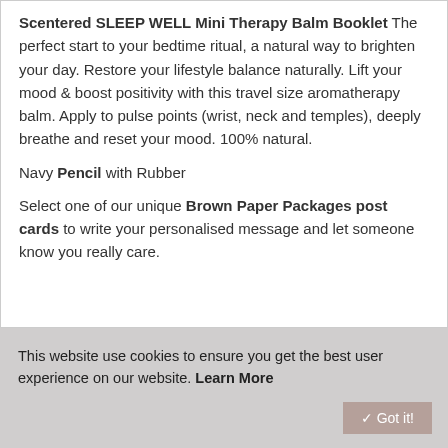Scentered SLEEP WELL Mini Therapy Balm Booklet The perfect start to your bedtime ritual, a natural way to brighten your day. Restore your lifestyle balance naturally. Lift your mood & boost positivity with this travel size aromatherapy balm. Apply to pulse points (wrist, neck and temples), deeply breathe and reset your mood. 100% natural.
Navy Pencil with Rubber
Select one of our unique Brown Paper Packages post cards to write your personalised message and let someone know you really care.
This website use cookies to ensure you get the best user experience on our website. Learn More